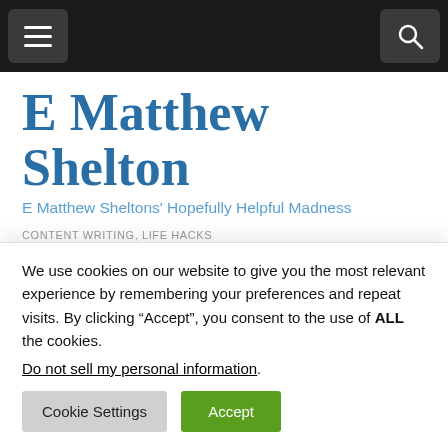Navigation bar with hamburger menu and search icon
E Matthew Shelton
E Matthew Sheltons' Hopefully Helpful Madness
CONTENT WRITING, LIFE HACKS
How To Speed-Write
We use cookies on our website to give you the most relevant experience by remembering your preferences and repeat visits. By clicking “Accept”, you consent to the use of ALL the cookies.
Do not sell my personal information.
Cookie Settings  Accept